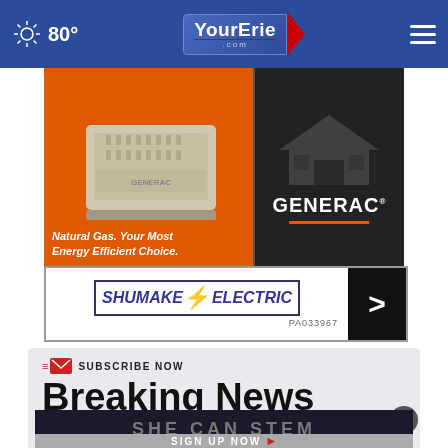80° YourErie.com
[Figure (photo): Generac generator advertisement showing a standby generator on orange background with tagline 'Natural Gas. Your Most Energy Efficient Choice.' and GENERAC brand name on dark background]
[Figure (logo): Shumake Electric advertisement banner with blue outlined text and lightning bolt logo, PA033967 license number, and black arrow button]
SUBSCRIBE NOW
Breaking News
Your email
[Figure (other): SHE CAN STEM dark banner]
SIGN UP NOW